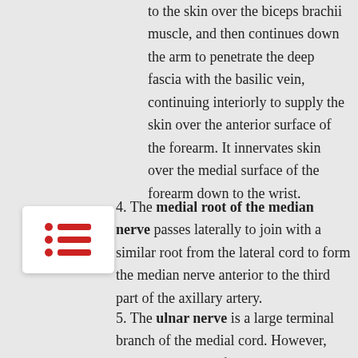to the skin over the biceps brachii muscle, and then continues down the arm to penetrate the deep fascia with the basilic vein, continuing interiorly to supply the skin over the anterior surface of the forearm. It innervates skin over the medial surface of the forearm down to the wrist.
[Figure (illustration): Red list icon with three horizontal lines and red dots, shown in a white rounded box]
4. The medial root of the median nerve passes laterally to join with a similar root from the lateral cord to form the median nerve anterior to the third part of the axillary artery.
5. The ulnar nerve is a large terminal branch of the medial cord. However, near its origin, it often receives a communicating branch from the lateral